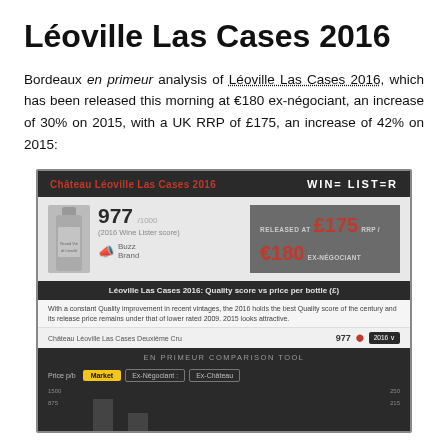Léoville Las Cases 2016
Bordeaux en primeur analysis of Léoville Las Cases 2016, which has been released this morning at €180 ex-négociant, an increase of 30% on 2015, with a UK RRP of £175, an increase of 42% on 2015:
[Figure (screenshot): Screenshot of Wine Lister page for Château Léoville Las Cases 2016, showing a score of 977/1000, released at £175 RRP / €180 ex-négociant, and an en primeur comparison tool chart.]